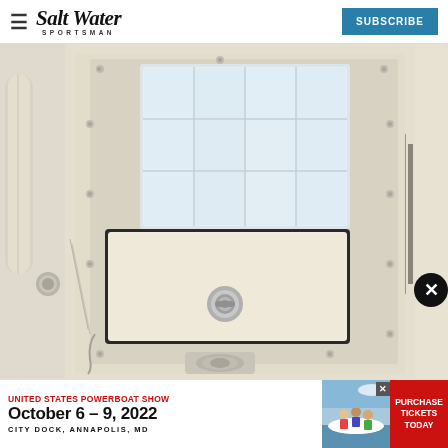Salt Water Sportsman — SUBSCRIBE
[Figure (photo): Open compartment on a boat showing a clear plastic tackle organizer tray mounted inside a white fiberglass hatch, with a lower compartment door open revealing a chrome latch handle, and another latch below]
[Figure (infographic): Advertisement banner for United States Powerboat Show, October 6-9, 2022, City Dock, Annapolis, MD with Purchase Tickets Today button and show imagery]